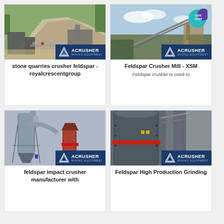[Figure (photo): Stone quarry with crusher machinery, rocks and mining site, ACRUSHER Mining Equipment logo at bottom right]
stone quarries crusher feldspar - royalcrescentgroup
[Figure (photo): Feldspar crusher outdoor setup with conveyor belts and structures, ACRUSHER Mining Equipment logo, LIVE CHAT bubble]
Feldspar Crusher Mill - XSM
Feldspar crusher is used to
[Figure (photo): Industrial feldspar impact crusher mill equipment with dust collector, ACRUSHER Mining Equipment logo]
feldspar impact crusher manufacturer with
[Figure (photo): Feldspar high production grinding mill close-up of large industrial grinding equipment, ACRUSHER Mining Equipment logo]
Feldspar High Production Grinding